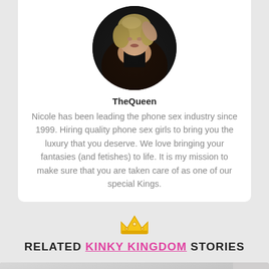[Figure (photo): Circular profile photo of a blonde woman in a dark top with arm raised]
TheQueen
Nicole has been leading the phone sex industry since 1999. Hiring quality phone sex girls to bring you the luxury that you deserve. We love bringing your fantasies (and fetishes) to life. It is my mission to make sure that you are taken care of as one of our special Kings.
[Figure (illustration): Golden crown icon above the Related Kinky Kingdom Stories heading]
RELATED KINKY KINGDOM STORIES
[Figure (photo): Partial grayscale photo at bottom of page]